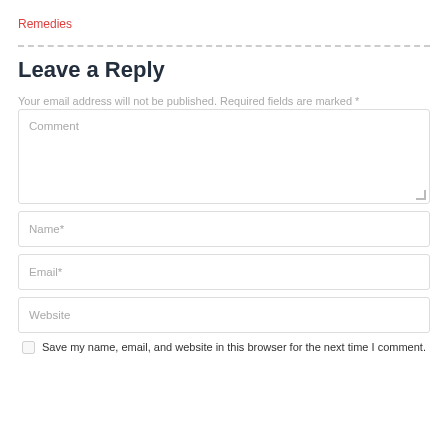Remedies
Leave a Reply
Your email address will not be published. Required fields are marked *
Comment
Name*
Email*
Website
Save my name, email, and website in this browser for the next time I comment.